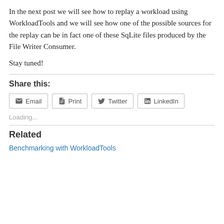In the next post we will see how to replay a workload using WorkloadTools and we will see how one of the possible sources for the replay can be in fact one of these SqLite files produced by the File Writer Consumer.
Stay tuned!
Share this:
Email  Print  Twitter  LinkedIn
Loading...
Related
Benchmarking with WorkloadTools